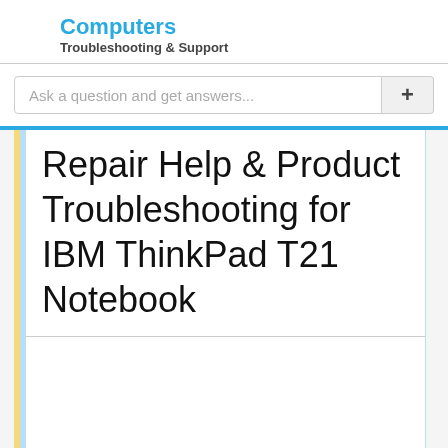Computers
Troubleshooting & Support
Ask a question and get answers...
Repair Help & Product Troubleshooting for IBM ThinkPad T21 Notebook